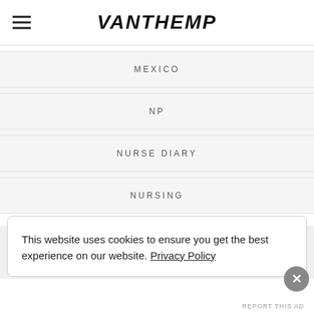VANTHEMP
MEXICO
NP
NURSE DIARY
NURSING
This website uses cookies to ensure you get the best experience on our website. Privacy Policy
Advertisements
AUT⊙MATTIC
Build a better web and a better world.